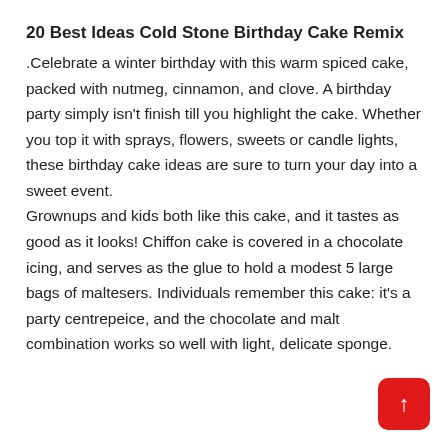20 Best Ideas Cold Stone Birthday Cake Remix
.Celebrate a winter birthday with this warm spiced cake, packed with nutmeg, cinnamon, and clove. A birthday party simply isn't finish till you highlight the cake. Whether you top it with sprays, flowers, sweets or candle lights, these birthday cake ideas are sure to turn your day into a sweet event.
Grownups and kids both like this cake, and it tastes as good as it looks! Chiffon cake is covered in a chocolate icing, and serves as the glue to hold a modest 5 large bags of maltesers. Individuals remember this cake: it's a party centrepeice, and the chocolate and malt combination works so well with light, delicate sponge.